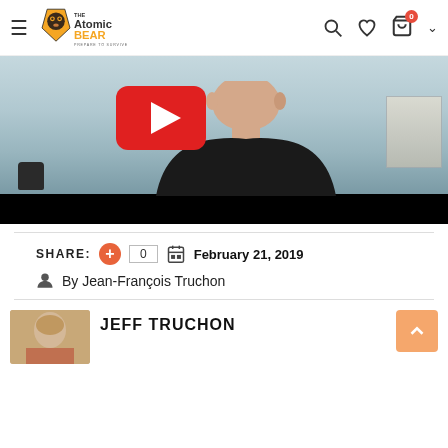The Atomic Bear — Prepare to Survive
[Figure (screenshot): YouTube video thumbnail showing a person in a black shirt with YouTube play button overlay; bottom portion has a black bar]
SHARE: 0  February 21, 2019
By Jean-François Truchon
[Figure (photo): Author photo thumbnail showing a person with light hair]
JEFF TRUCHON